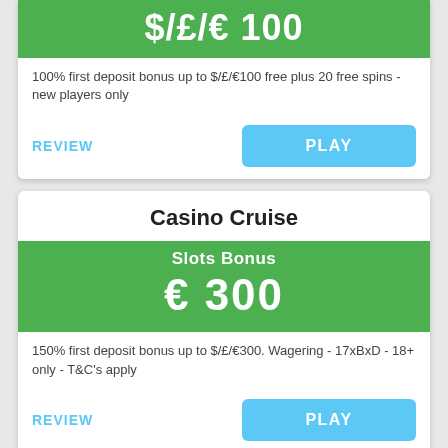$/£/€ 100
100% first deposit bonus up to $/£/€100 free plus 20 free spins - new players only
REVIEW
PLAY
Casino Cruise
Slots Bonus
€ 300
150% first deposit bonus up to $/£/€300. Wagering - 17xBxD - 18+ only - T&C's apply
REVIEW
PLAY
Spinit Casino